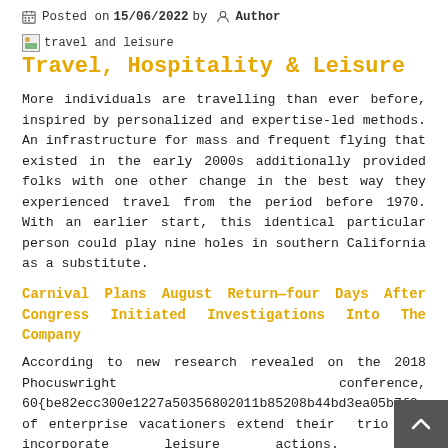Posted on 15/06/2022 by Author
travel and leisure
Travel, Hospitality & Leisure
More individuals are travelling than ever before, inspired by personalized and expertise-led methods. An infrastructure for mass and frequent flying that existed in the early 2000s additionally provided folks with one other change in the best way they experienced travel from the period before 1970. With an earlier start, this identical particular person could play nine holes in southern California as a substitute.
Carnival Plans August Return—four Days After Congress Initiated Investigations Into The Company
According to new research revealed on the 2018 Phocuswright conference, 60{be82ecc300e1227a50356802011b85208b44bd3ea05b7f0a of enterprise vacationers extend their trio to incorporate leisure actions. With millennials